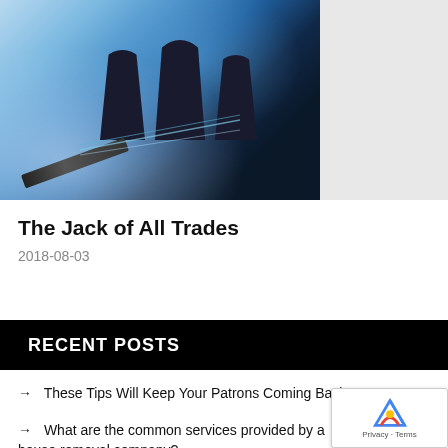[Figure (photo): Business photo showing silhouettes of people at a meeting table with charts and a pen in the foreground, with a blue/dark tone]
The Jack of All Trades
2018-08-03
RECENT POSTS
→ These Tips Will Keep Your Patrons Coming Back To Your Gym
→ What are the common services provided by a house removal company?